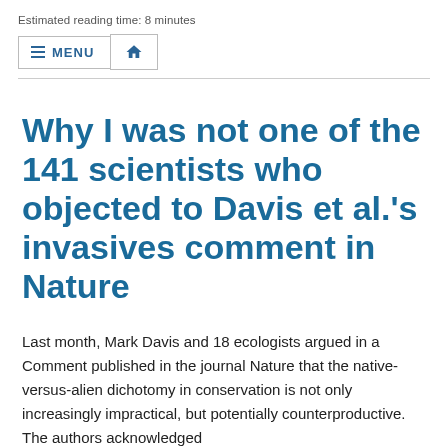Estimated reading time: 8 minutes
Why I was not one of the 141 scientists who objected to Davis et al.'s invasives comment in Nature
Last month, Mark Davis and 18 ecologists argued in a Comment published in the journal Nature that the native-versus-alien dichotomy in conservation is not only increasingly impractical, but potentially counterproductive. The authors acknowledged